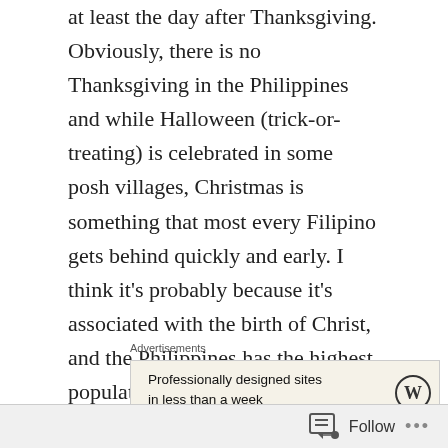at least the day after Thanksgiving.  Obviously, there is no Thanksgiving in the Philippines and while Halloween (trick-or-treating) is celebrated in some posh villages, Christmas is something that most every Filipino gets behind quickly and early.  I think it's probably because it's associated with the birth of Christ, and the Philippines has the highest population of Catholics of any country in the world.  It may also have something to do with the poor conditions in the country.  I'm sure a lot of families are looking for an excuse to feel cheerful about something.
Advertisements
[Figure (other): Advertisement box with beige background. Text reads 'Professionally designed sites in less than a week' with a WordPress logo (circle with W) on the right.]
Follow ···